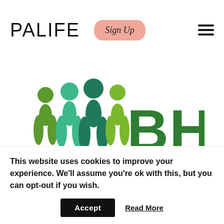PALIFE
[Figure (logo): BHWA logo with green figures and BHWA text in green]
This website uses cookies to improve your experience. We'll assume you're ok with this, but you can opt-out if you wish.
Accept  Read More